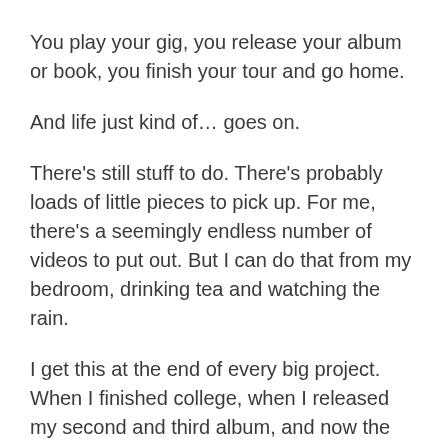You play your gig, you release your album or book, you finish your tour and go home.
And life just kind of… goes on.
There's still stuff to do. There's probably loads of little pieces to pick up. For me, there's a seemingly endless number of videos to put out. But I can do that from my bedroom, drinking tea and watching the rain.
I get this at the end of every big project. When I finished college, when I released my second and third album, and now the tour. I spent the first week just sort of wandering around the house. Too tired to do anything, but too used to doing stuff to sit still. I thought about writing a blog and my brain nearly shut down.